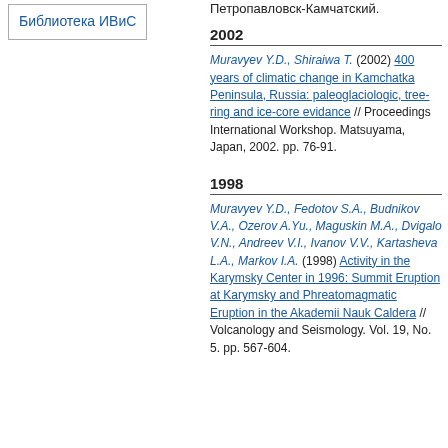Библиотека ИВиС
Петропавловск-Камчатский.
2002
Muravyev Y.D., Shiraiwa T. (2002) 400 years of climatic change in Kamchatka Peninsula, Russia: paleoglaciologic, tree-ring and ice-core evidance // Proceedings International Workshop. Matsuyama, Japan, 2002. pp. 76-91.
1998
Muravyev Y.D., Fedotov S.A., Budnikov V.A., Ozerov A.Yu., Maguskin M.A., Dvigalo V.N., Andreev V.I., Ivanov V.V., Kartasheva L.A., Markov I.A. (1998) Activity in the Karymsky Center in 1996: Summit Eruption at Karymsky and Phreatomagmatic Eruption in the Akademii Nauk Caldera // Volcanology and Seismology. Vol. 19, No. 5. pp. 567-604.